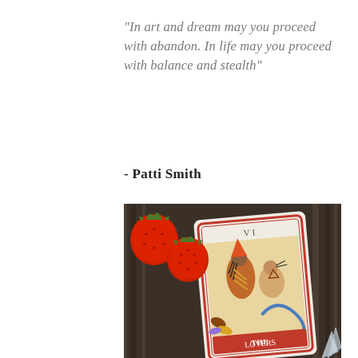"In art and dream may you proceed with abandon. In life may you proceed with balance and stealth"
- Patti Smith
[Figure (photo): Overhead photo on a dark wood surface showing a tarot card labeled 'THE LOVERS' (card VI) with colorful illustrated figures, surrounded by fresh strawberries and a crystal point.]